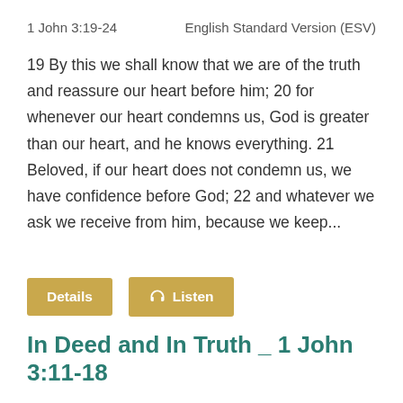1 John 3:19-24    English Standard Version (ESV)
19 By this we shall know that we are of the truth and reassure our heart before him; 20 for whenever our heart condemns us, God is greater than our heart, and he knows everything. 21 Beloved, if our heart does not condemn us, we have confidence before God; 22 and whatever we ask we receive from him, because we keep...
Details  Listen
In Deed and In Truth _ 1 John 3:11-18